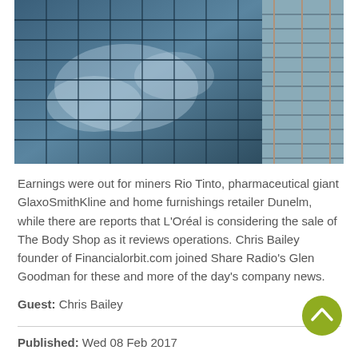[Figure (photo): Close-up photo of a modern glass-curtain-wall office building reflecting clouds and blue sky, with a lighter-coloured facade section on the right side.]
Earnings were out for miners Rio Tinto, pharmaceutical giant GlaxoSmithKline and home furnishings retailer Dunelm, while there are reports that L'Oréal is considering the sale of The Body Shop as it reviews operations. Chris Bailey founder of Financialorbit.com joined Share Radio's Glen Goodman for these and more of the day's company news.
Guest: Chris Bailey
Published: Wed 08 Feb 2017